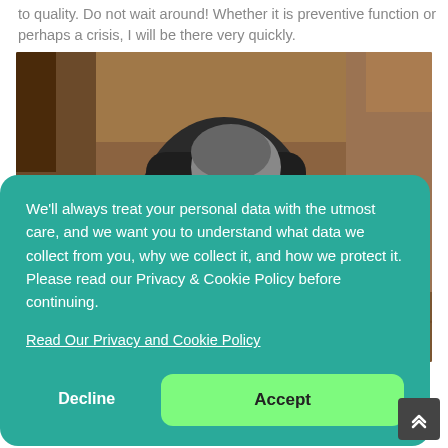to quality. Do not wait around! Whether it is preventive function or perhaps a crisis, I will be there very quickly.
[Figure (photo): A person wearing a dark hoodie and blue gloves crouching in a trench or excavation site with dirt and soil walls around them.]
We'll always treat your personal data with the utmost care, and we want you to understand what data we collect from you, why we collect it, and how we protect it. Please read our Privacy & Cookie Policy before continuing.
Read Our Privacy and Cookie Policy
Decline
Accept
Qualified Specialists Volvo Berkerange